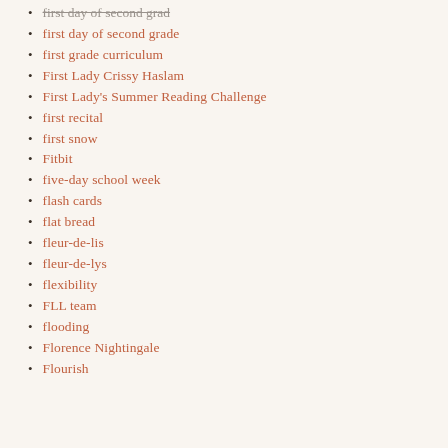first day of second grad
first day of second grade
first grade curriculum
First Lady Crissy Haslam
First Lady's Summer Reading Challenge
first recital
first snow
Fitbit
five-day school week
flash cards
flat bread
fleur-de-lis
fleur-de-lys
flexibility
FLL team
flooding
Florence Nightingale
Flourish